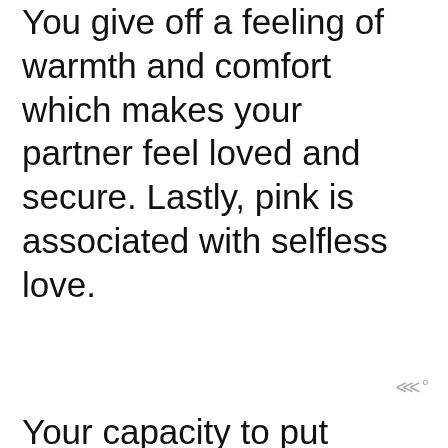You give off a feeling of warmth and comfort which makes your partner feel loved and secure. Lastly, pink is associated with selfless love.
Your capacity to put others first and